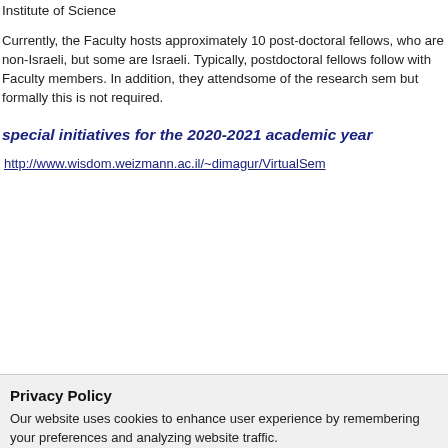Institute of Science
Currently, the Faculty hosts approximately 10 post-doctoral fellows, who are non-Israeli, but some are Israeli. Typically, postdoctoral fellows follow with Faculty members. In addition, they attendsome of the research sem but formally this is not required.
special initiatives for the 2020-2021 academic year
http://www.wisdom.weizmann.ac.il/~dimagur/VirtualSem
Privacy Policy
Our website uses cookies to enhance user experience by remembering your preferences and analyzing website traffic.